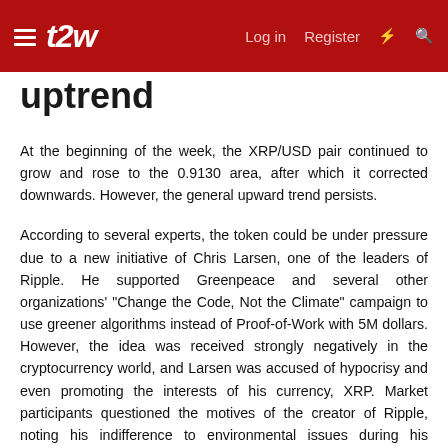t2w | Log in | Register
uptrend
At the beginning of the week, the XRP/USD pair continued to grow and rose to the 0.9130 area, after which it corrected downwards. However, the general upward trend persists.
According to several experts, the token could be under pressure due to a new initiative of Chris Larsen, one of the leaders of Ripple. He supported Greenpeace and several other organizations' "Change the Code, Not the Climate" campaign to use greener algorithms instead of Proof-of-Work with 5M dollars. However, the idea was received strongly negatively in the cryptocurrency world, and Larsen was accused of hypocrisy and even promoting the interests of his currency, XRP. Market participants questioned the motives of the creator of Ripple, noting his indifference to environmental issues during his company's use of environmentally harmful technologies in the past. Also, the very attempt to put pressure on the 50 leading market participants seems dangerous to crypto enthusiasts since they advocate maximum decentralization.